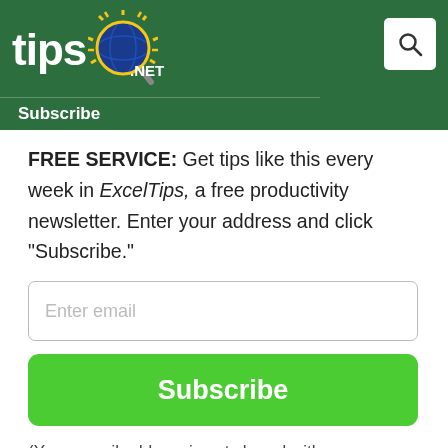[Figure (logo): Tips.NET logo on dark green header background with sun/lightbulb icon, and a search icon button in top right corner]
Subscribe
FREE SERVICE: Get tips like this every week in ExcelTips, a free productivity newsletter. Enter your address and click "Subscribe."
(Your e-mail address is not shared with anyone, ever.)
View the most recent newsletter.